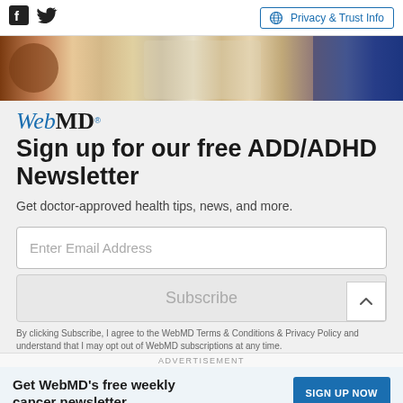Facebook Twitter | Privacy & Trust Info
[Figure (photo): Banner photo showing children and adults, cropped to show faces and upper bodies with warm tones]
[Figure (logo): WebMD logo in blue and black italic serif font]
Sign up for our free ADD/ADHD Newsletter
Get doctor-approved health tips, news, and more.
Enter Email Address
Subscribe
By clicking Subscribe, I agree to the WebMD Terms & Conditions & Privacy Policy and understand that I may opt out of WebMD subscriptions at any time.
ADVERTISEMENT
Get WebMD's free weekly cancer newsletter
SIGN UP NOW